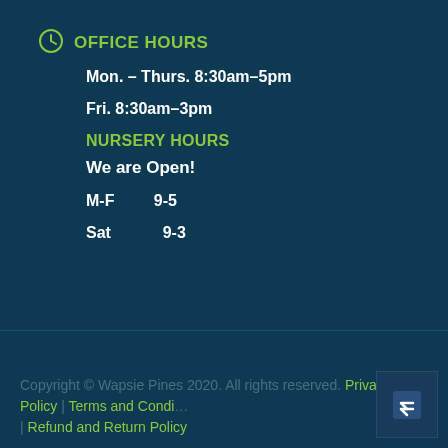OFFICE HOURS
Mon. – Thurs. 8:30am–5pm
Fri. 8:30am–3pm
NURSERY HOURS
We are Open!
M-F    9-5
Sat      9-3
Copyright © Wapsie Pines 2020. All rights reserved. Privacy Policy | Terms and Conditions | Refund and Return Policy